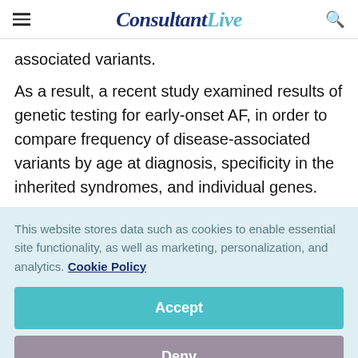ConsultantLive
associated variants.
As a result, a recent study examined results of genetic testing for early-onset AF, in order to compare frequency of disease-associated variants by age at diagnosis, specificity in the inherited syndromes, and individual genes.
This website stores data such as cookies to enable essential site functionality, as well as marketing, personalization, and analytics. Cookie Policy
Accept
Deny